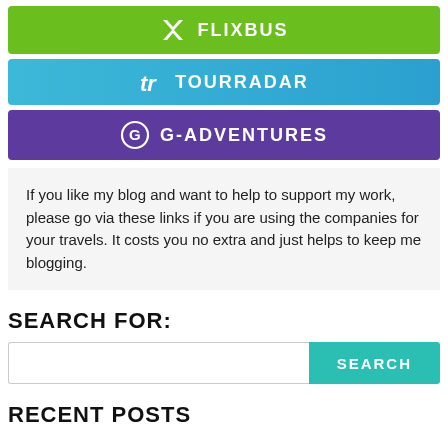[Figure (logo): FlixBus logo button - green background with white X icon and FLIXBUS text]
[Figure (logo): TourRadar logo button - blue gradient background with white tr icon and TOURRADAR text]
[Figure (logo): G-Adventures logo button - purple background with white circular G icon and G-ADVENTURES text]
If you like my blog and want to help to support my work, please go via these links if you are using the companies for your travels. It costs you no extra and just helps to keep me blogging.
SEARCH FOR:
RECENT POSTS